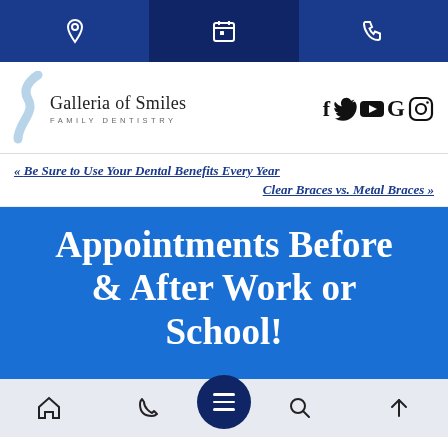Top navigation bar with location, calendar, and phone icons
[Figure (logo): Galleria of Smiles Family Dentistry logo with stylized S curve and social media icons (f, Twitter, YouTube, G, Instagram)]
« Be Sure to Use Your Dental Benefits Every Year
Clear Braces vs. Metal Braces »
Appointments Before & After Work or School!
Bottom navigation bar with home, phone, menu, search, and up arrow icons